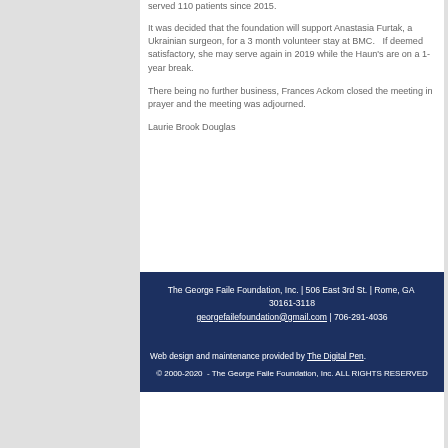served 110 patients since 2015.
It was decided that the foundation will support Anastasia Furtak, a Ukrainian surgeon, for a 3 month volunteer stay at BMC.   If deemed satisfactory, she may serve again in 2019 while the Haun's are on a 1-year break.
There being no further business, Frances Ackom closed the meeting in prayer and the meeting was adjourned.
Laurie Brook Douglas
The George Faile Foundation, Inc. | 506 East 3rd St. | Rome, GA  30161-3118
georgefailefoundation@gmail.com | 706-291-4036
Web design and maintenance provided by The Digital Pen.
© 2000-2020  - The George Faile Foundation, Inc. ALL RIGHTS RESERVED